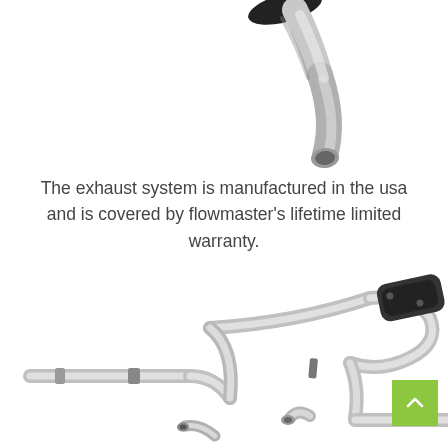[Figure (photo): Close-up photo of a chrome exhaust pipe tip with a black rubber or plastic connector/bracket, shown on a white background — top portion of the image is cropped.]
The exhaust system is manufactured in the usa and is covered by flowmaster's lifetime limited warranty.
[Figure (photo): Exhaust system kit laid out on a white background, showing polished stainless steel pipes, a black muffler, hangers, and various pipe bends and connectors for a full exhaust system installation.]